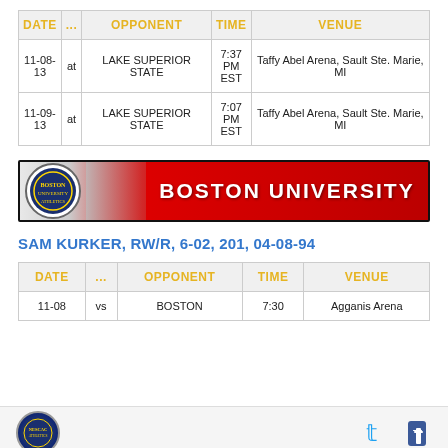| DATE | ... | OPPONENT | TIME | VENUE |
| --- | --- | --- | --- | --- |
| 11-08-13 | at | LAKE SUPERIOR STATE | 7:37 PM EST | Taffy Abel Arena, Sault Ste. Marie, MI |
| 11-09-13 | at | LAKE SUPERIOR STATE | 7:07 PM EST | Taffy Abel Arena, Sault Ste. Marie, MI |
[Figure (logo): Boston University banner with red background and BU logo, text BOSTON UNIVERSITY]
SAM KURKER, RW/R, 6-02, 201, 04-08-94
| DATE | ... | OPPONENT | TIME | VENUE |
| --- | --- | --- | --- | --- |
| 11-08 | vs | BOSTON | 7:30 | Agganis Arena |
[logo] [twitter] [facebook]